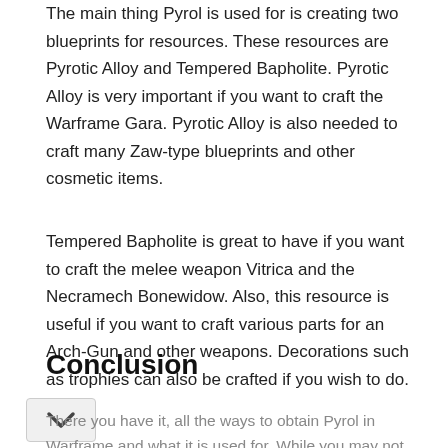The main thing Pyrol is used for is creating two blueprints for resources. These resources are Pyrotic Alloy and Tempered Bapholite. Pyrotic Alloy is very important if you want to craft the Warframe Gara. Pyrotic Alloy is also needed to craft many Zaw-type blueprints and other cosmetic items.
Tempered Bapholite is great to have if you want to craft the melee weapon Vitrica and the Necramech Bonewidow. Also, this resource is useful if you want to craft various parts for an Arch-Gun and other weapons. Decorations such as trophies can also be crafted if you wish to do.
Conclusion
There you have it, all the ways to obtain Pyrol in Warframe and what it is used for. While you may not need this